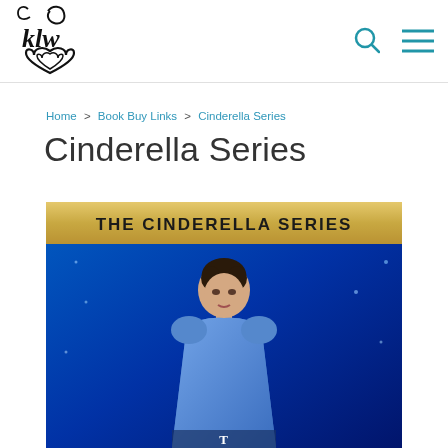KLW logo with search and menu icons
Home > Book Buy Links > Cinderella Series
Cinderella Series
[Figure (photo): Book cover image for The Cinderella Series showing a woman in a blue gown against a sparkling blue background with text THE CINDERELLA SERIES in gold banner at top]